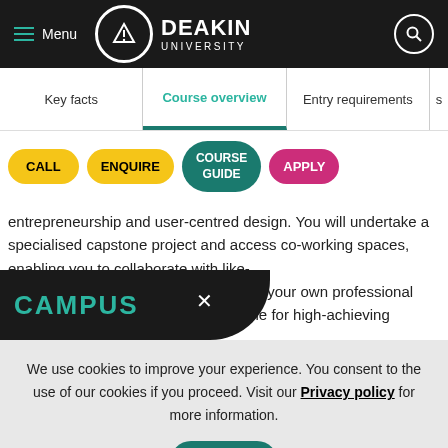Deakin University — Menu / Header navigation
Key facts | Course overview | Entry requirements | s
CALL   ENQUIRE   COURSE GUIDE   APPLY
entrepreneurship and user-centred design. You will undertake a specialised capstone project and access co-working spaces, enabling you to collaborate with like- ...kickstart your own professional ...available for high-achieving
CAMPUS
We use cookies to improve your experience. You consent to the use of our cookies if you proceed. Visit our Privacy policy for more information.
OK